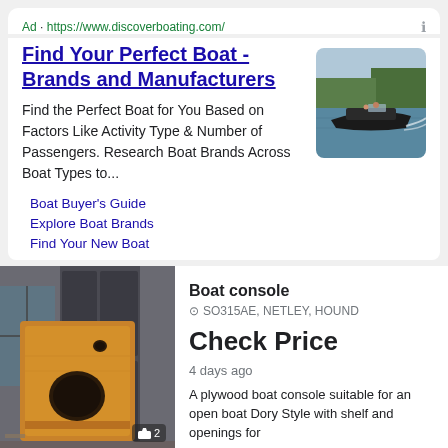Ad · https://www.discoverboating.com/
Find Your Perfect Boat - Brands and Manufacturers
Find the Perfect Boat for You Based on Factors Like Activity Type & Number of Passengers. Research Boat Brands Across Boat Types to...
[Figure (photo): A motorboat speeding across a lake with people on board, surrounded by trees]
Boat Buyer's Guide
Explore Boat Brands
Find Your New Boat
[Figure (photo): A plywood boat console of wooden construction, sitting outdoors near a building]
Boat console
SO315AE, NETLEY, HOUND
Check Price
4 days ago
A plywood boat console suitable for an open boat Dory Style with shelf and openings for